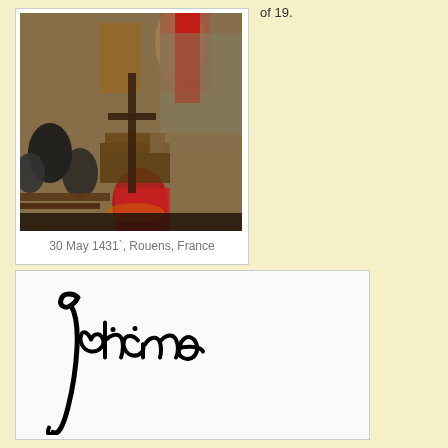of 19.
[Figure (photo): Historical painting depicting Joan of Arc at the stake, Rouen, France, 30 May 1431]
30 May 1431`, Rouens, France
[Figure (photo): Joan of Arc's signature reading 'Jehanne']